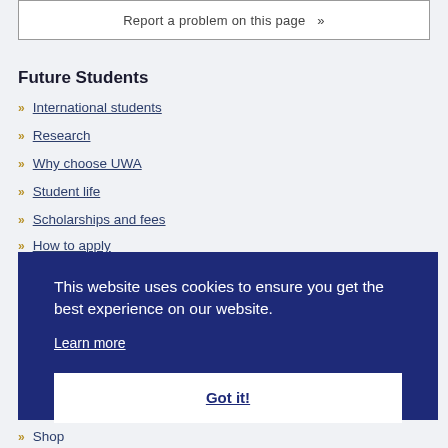Report a problem on this page »
Future Students
International students
Research
Why choose UWA
Student life
Scholarships and fees
How to apply
This website uses cookies to ensure you get the best experience on our website.
Learn more
Got it!
Shop